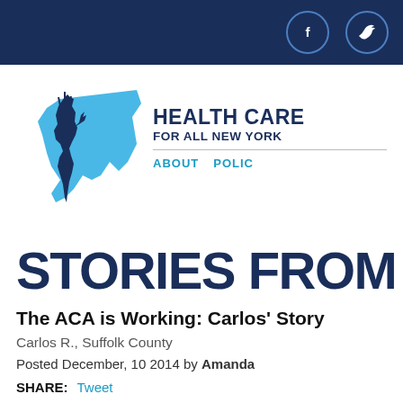[Figure (logo): Health Care For All New York logo with Statue of Liberty and NY state silhouette in blue]
STORIES FROM NE
The ACA is Working: Carlos' Story
Carlos R., Suffolk County
Posted December, 10 2014 by Amanda
SHARE: Tweet